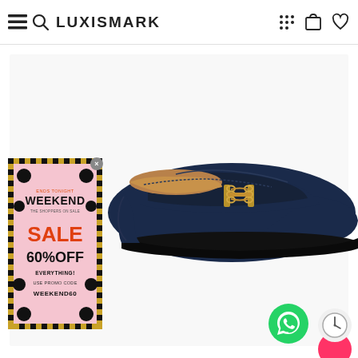LUXISMARK
[Figure (photo): Navy blue leather loafer/moccasin shoe with gold horsebit chain detail on a white background]
[Figure (infographic): Weekend Sale popup ad: ENDS TONIGHT / WEEKEND / THE SHOPPERS ON SALE / SALE / 60%OFF / EVERYTHING! / USE PROMO CODE / WEEKEND60. Pink background with black and gold checkered border, decorative black balloons.]
[Figure (other): WhatsApp icon button (green circle with white phone/chat logo)]
[Figure (other): Clock icon button (gray circle with clock icon)]